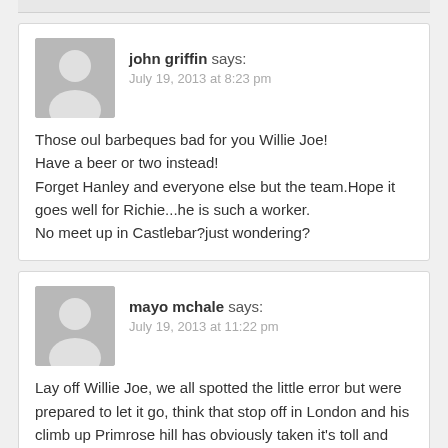john griffin says:
July 19, 2013 at 8:23 pm

Those oul barbeques bad for you Willie Joe!
Have a beer or two instead!
Forget Hanley and everyone else but the team.Hope it goes well for Richie...he is such a worker.
No meet up in Castlebar?just wondering?
mayo mchale says:
July 19, 2013 at 11:22 pm

Lay off Willie Joe, we all spotted the little error but were prepared to let it go, think that stop off in London and his climb up Primrose hill has obviously taken it's toll and anyway London – Leitrim it matters not, three in a roe is ours for the